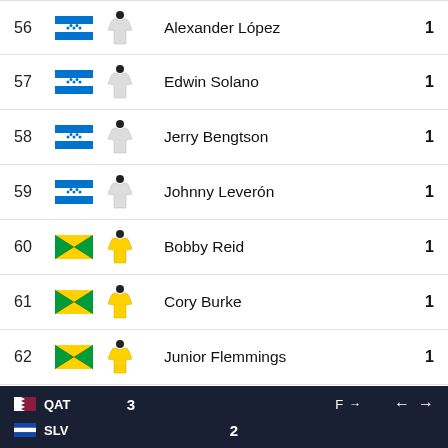| Rank | Flag | Jersey | Name | Goals |
| --- | --- | --- | --- | --- |
| 56 | Honduras |  | Alexander López | 1 |
| 57 | Honduras |  | Edwin Solano | 1 |
| 58 | Honduras |  | Jerry Bengtson | 1 |
| 59 | Honduras |  | Johnny Leverón | 1 |
| 60 | Jamaica |  | Bobby Reid | 1 |
| 61 | Jamaica |  | Cory Burke | 1 |
| 62 | Jamaica |  | Junior Flemmings | 1 |
QAT 3  SLV 2  F  →  ←  →